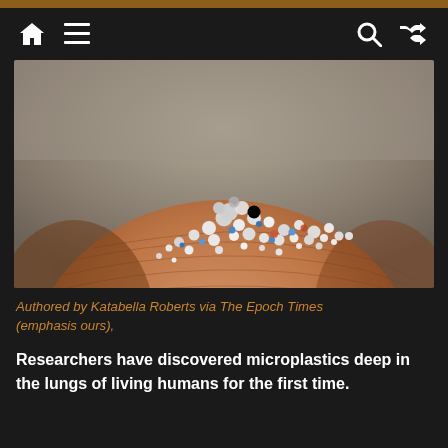Navigation bar with home, menu, search, and shuffle icons
[Figure (photo): Close-up macro photograph of tiny white and blue microplastic particles resting on the tip of a human finger, showing fingerprint ridges in the background]
Authored by Katabella Roberts via The Epoch Times (emphasis ours),
Researchers have discovered microplastics deep in the lungs of living humans for the first time.